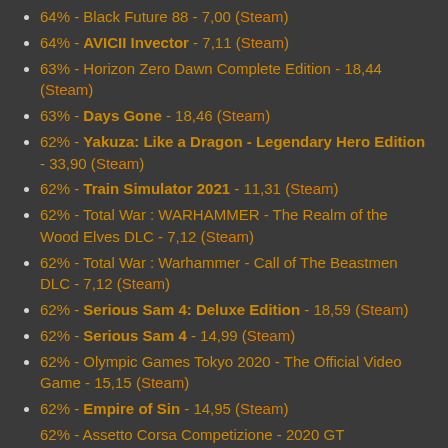64% - Black Future 88 - 7,00 (Steam)
64% - AVICII Invector - 7,11 (Steam)
63% - Horizon Zero Dawn Complete Edition - 18,44 (Steam)
63% - Days Gone - 18,46 (Steam)
62% - Yakuza: Like a Dragon - Legendary Hero Edition - 33,90 (Steam)
62% - Train Simulator 2021 - 11,31 (Steam)
62% - Total War : WARHAMMER - The Realm of the Wood Elves DLC - 7,12 (Steam)
62% - Total War : Warhammer - Call of The Beastmen DLC - 7,12 (Steam)
62% - Serious Sam 4: Deluxe Edition - 18,59 (Steam)
62% - Serious Sam 4 - 14,99 (Steam)
62% - Olympic Games Tokyo 2020 - The Official Video Game - 15,15 (Steam)
62% - Empire of Sin - 14,95 (Steam)
62% - Assetto Corsa Competizione - 2020 GT...